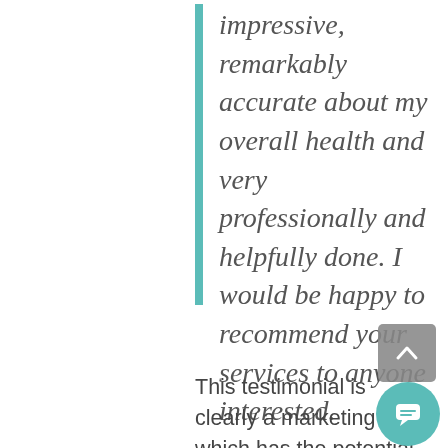impressive, remarkably accurate about my overall health and very professionally and helpfully done. I would be happy to recommend your services to anyone interested.
This testimonial is clearly a marketing ploy, which has the potential to mislead the public. People will be more likely to seek genetic services if they are recommended by prominent public figures. The most worrisome is that these testimo... are published with the persons'